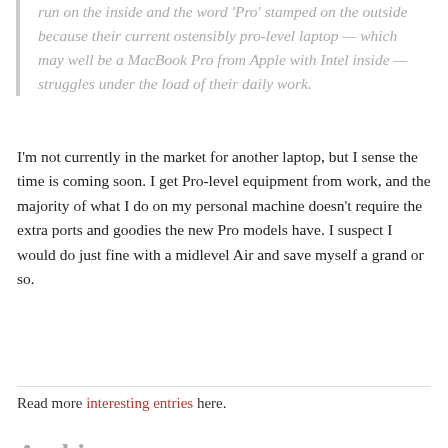run on the inside and the word 'Pro' stamped on the outside because their current ostensibly pro-level laptop — which may well be a MacBook Pro from Apple with Intel inside — struggles under the load of their daily work.
I'm not currently in the market for another laptop, but I sense the time is coming soon. I get Pro-level equipment from work, and the majority of what I do on my personal machine doesn't require the extra ports and goodies the new Pro models have. I suspect I would do just fine with a midlevel Air and save myself a grand or so.
Read more interesting entries here.
Archives